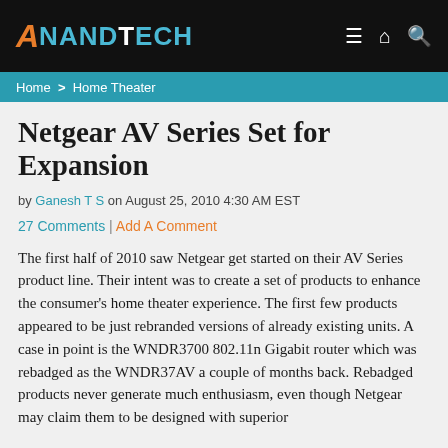AnandTech
Home > Home Theater
Netgear AV Series Set for Expansion
by Ganesh T S on August 25, 2010 4:30 AM EST
27 Comments | Add A Comment
The first half of 2010 saw Netgear get started on their AV Series product line. Their intent was to create a set of products to enhance the consumer's home theater experience. The first few products appeared to be just rebranded versions of already existing units. A case in point is the WNDR3700 802.11n Gigabit router which was rebadged as the WNDR37AV a couple of months back. Rebadged products never generate much enthusiasm, even though Netgear may claim them to be designed with superior